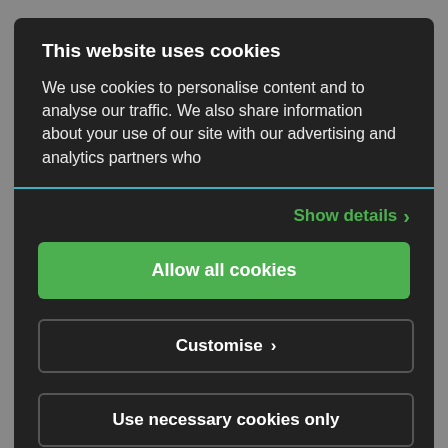This website uses cookies
We use cookies to personalise content and to analyse our traffic. We also share information about your use of our site with our advertising and analytics partners who
Show details >
Allow all cookies
Customise >
Use necessary cookies only
Powered by Cookiebot by Usercentrics
[Figure (logo): tipcon logo text at bottom]